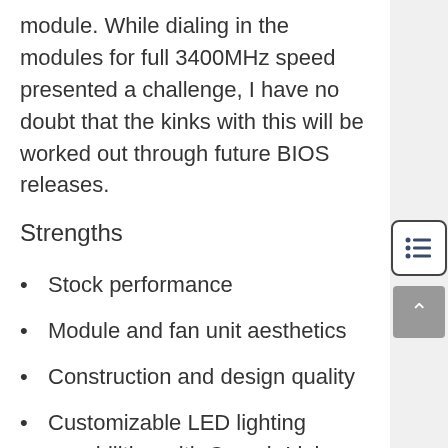module. While dialing in the modules for full 3400MHz speed presented a challenge, I have no doubt that the kinks with this will be worked out through future BIOS releases.
Strengths
Stock performance
Module and fan unit aesthetics
Construction and design quality
Customizable LED lighting capabilities with Corsair Link integration
Cooling potential of integrated DHX heat spreaders